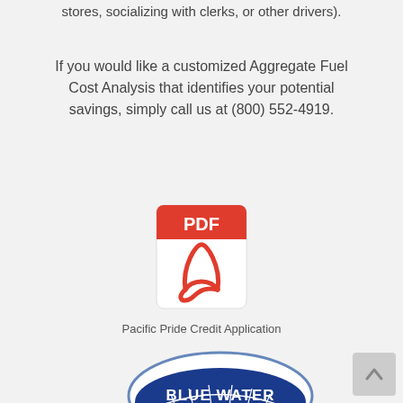stores, socializing with clerks, or other drivers).
If you would like a customized Aggregate Fuel Cost Analysis that identifies your potential savings, simply call us at (800) 552-4919.
[Figure (illustration): PDF file icon with red Adobe Acrobat logo symbol on white document with red header bar labeled 'PDF']
Pacific Pride Credit Application
[Figure (logo): Blue Water Fuel Management oval logo with bridge graphic, blue and white colors with red accent]
[Figure (other): Scroll to top button arrow icon in grey square]